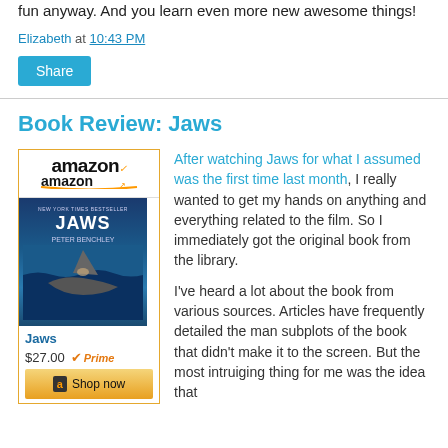fun anyway. And you learn even more new awesome things!
Elizabeth at 10:43 PM
Share
Book Review: Jaws
[Figure (other): Amazon product widget for the book Jaws by Peter Benchley, showing book cover, price $27.00, Prime badge, and Shop now button]
After watching Jaws for what I assumed was the first time last month, I really wanted to get my hands on anything and everything related to the film. So I immediately got the original book from the library.
I've heard a lot about the book from various sources. Articles have frequently detailed the man subplots of the book that didn't make it to the screen. But the most intruiging thing for me was the idea that